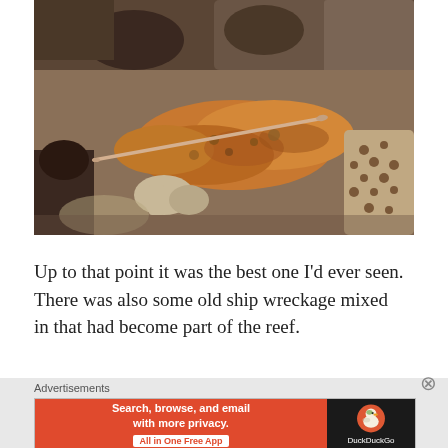[Figure (photo): Underwater photo of a coral reef with algae, sponges, and a long thin fish (possibly a trumpet fish or pipefish) visible among the reef structures. The reef shows orange-brown algae, porous sponge formations, and various coral textures.]
Up to that point it was the best one I'd ever seen. There was also some old ship wreckage mixed in that had become part of the reef.
Advertisements
[Figure (screenshot): DuckDuckGo advertisement banner. Left orange section reads 'Search, browse, and email with more privacy. All in One Free App'. Right dark section shows DuckDuckGo duck logo and brand name.]